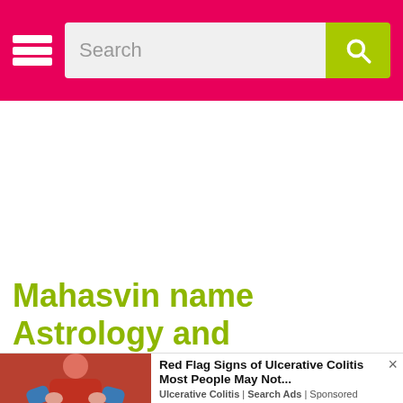Search
Mahasvin name Astrology and Numerology
[Figure (photo): Advertisement banner showing a person in a red shirt holding their stomach, with text 'Red Flag Signs of Ulcerative Colitis Most People May Not...' and source 'Ulcerative Colitis | Search Ads | Sponsored']